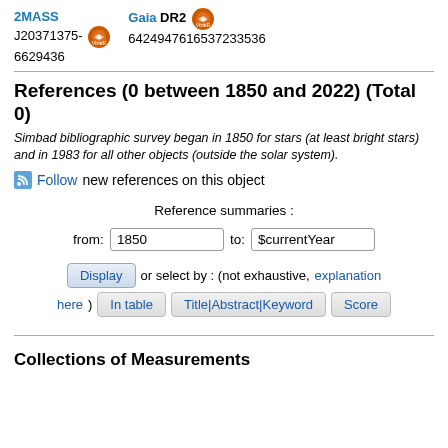2MASS J20371375-6629436  Gaia DR2 6424947616537233536
References (0 between 1850 and 2022) (Total 0)
Simbad bibliographic survey began in 1850 for stars (at least bright stars) and in 1983 for all other objects (outside the solar system).
Follow new references on this object
Reference summaries :
from: 1850  to: $currentYear
Display or select by : (not exhaustive, explanation here)  In table  Title|Abstract|Keyword  Score
Collections of Measurements